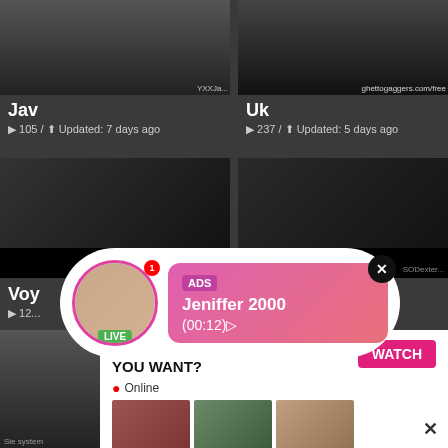[Figure (screenshot): Top-left thumbnail, dark adult content]
[Figure (screenshot): Top-right thumbnail with watermark ghettogaggers.com/free]
Jav
▶ 105 / ⬆ Updated: 7 days ago
Uk
▶ 237 / ⬆ Updated: 5 days ago
[Figure (screenshot): Middle-left dark thumbnail]
[Figure (screenshot): Middle-right dark thumbnail]
[Figure (infographic): Popup ad overlay: ADS - Jeniffer 2000 (00:12) with avatar, LIVE badge, close button]
Voy
▶ 12...
[Figure (photo): Bottom-left small dark thumbnail with Sie system label]
[Figure (photo): Bottom-center adult photo]
[Figure (infographic): Bottom-right ad: WHAT DO YOU WANT? WATCH button, Online indicator, thumbnail images, text: Cumming, ass fucking, squirt or... • ADS, X close]